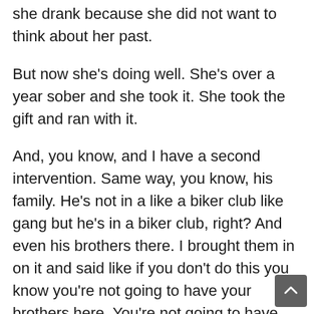she drank because she did not want to think about her past.
But now she's doing well. She's over a year sober and she took it. She took the gift and ran with it.
And, you know, and I have a second intervention. Same way, you know, his family. He's not in a like a biker club like gang but he's in a biker club, right? And even his brothers there. I brought them in on it and said like if you don't do this you know you're not going to have your brothers here. You're not going to have your family. And now he's coming up on six